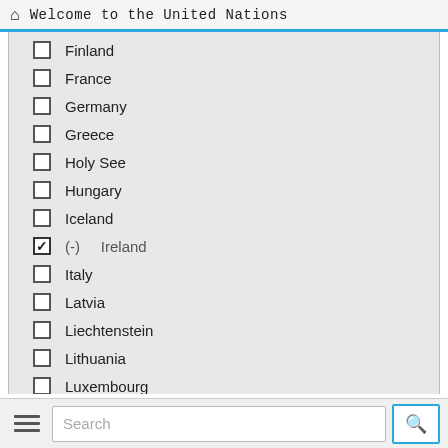Welcome to the United Nations
Finland
France
Germany
Greece
Holy See
Hungary
Iceland
(-) Ireland (checked)
Italy
Latvia
Liechtenstein
Lithuania
Luxembourg
Malta
Monaco
Montenegro